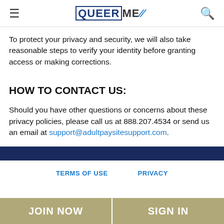QUEER ME TV — navigation header with hamburger menu and search icon
To protect your privacy and security, we will also take reasonable steps to verify your identity before granting access or making corrections.
HOW TO CONTACT US:
Should you have other questions or concerns about these privacy policies, please call us at 888.207.4534 or send us an email at support@adultpaysitesupport.com.
TERMS OF USE   PRIVACY
JOIN NOW   SIGN IN